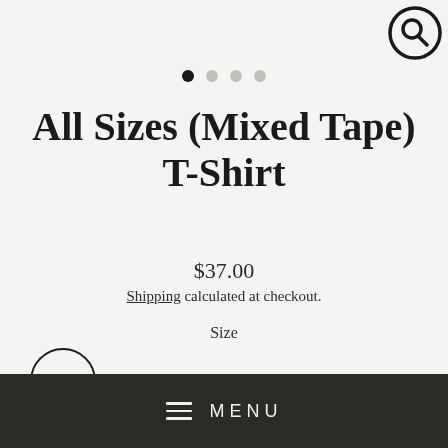[Figure (other): Search icon (magnifying glass) in top right corner]
[Figure (other): Carousel pagination dots, first dot active (filled dark), three dots light gray]
All Sizes (Mixed Tape) T-Shirt
$37.00
Shipping calculated at checkout.
Size
XS  S  M  L  XL  2XL
MENU